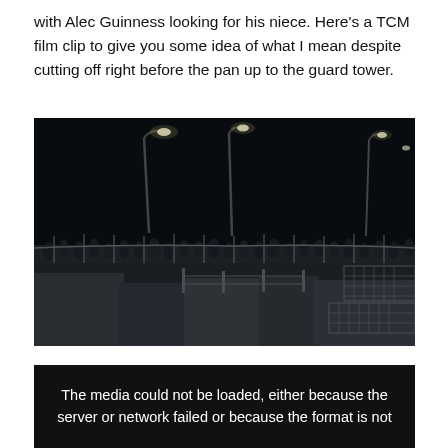with Alec Guinness looking for his niece. Here's a TCM film clip to give you some idea of what I mean despite cutting off right before the pan up to the guard tower.
[Figure (photo): A dark, moody black-and-white film still showing an industrial or institutional structure at night, with metal railings, concrete barriers, caged platforms, and street lamps glowing against a dark sky. A crowd of people can be seen in the background along a walkway.]
The media could not be loaded, either because the server or network failed or because the format is not